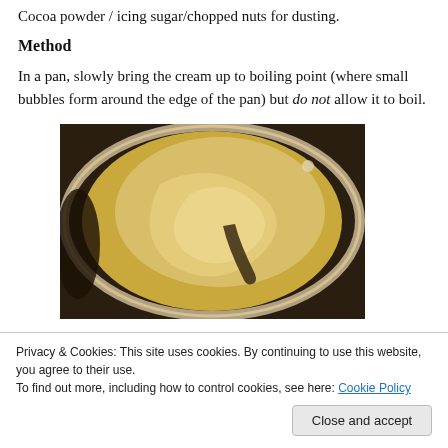Cocoa powder / icing sugar/chopped nuts for dusting.
Method
In a pan, slowly bring the cream up to boiling point (where small bubbles form around the edge of the pan) but do not allow it to boil.
[Figure (photo): A top-down view of a metal pan containing a cream/yellow mixture being stirred, showing a swirl pattern.]
Privacy & Cookies: This site uses cookies. By continuing to use this website, you agree to their use.
To find out more, including how to control cookies, see here: Cookie Policy
Close and accept